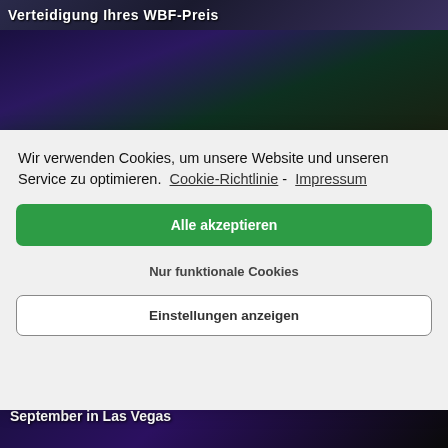[Figure (screenshot): Top partial image strip showing dark purple/blue background with white bold text partially visible]
[Figure (screenshot): Middle image strip with dark tones, partially visible concert/event scene]
Wir verwenden Cookies, um unsere Website und unseren Service zu optimieren.  Cookie-Richtlinie -  Impressum
Alle akzeptieren
Nur funktionale Cookies
Einstellungen anzeigen
[Figure (screenshot): Bottom image strip: dark background with text 'September in Las Vegas' and 'THE NIGERIAN NIGHTMARE' label]